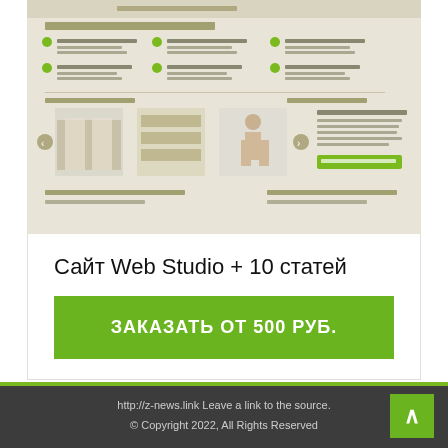[Figure (screenshot): Screenshot of a Web Studio website with olive/beige color scheme, showing services/features listed with bullet points and interior design images in a gallery row]
Сайт Web Studio + 10 статей
ЗАКАЗАТЬ ОТ 500 РУБ.
http://z-news.link Leave a link to the source.
© Copyright 2022, All Rights Reserved